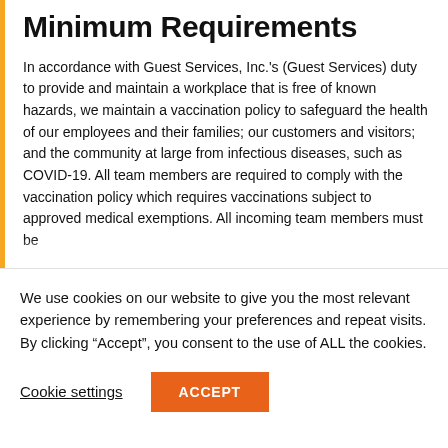Minimum Requirements
In accordance with Guest Services, Inc.'s (Guest Services) duty to provide and maintain a workplace that is free of known hazards, we maintain a vaccination policy to safeguard the health of our employees and their families; our customers and visitors; and the community at large from infectious diseases, such as COVID-19. All team members are required to comply with the vaccination policy which requires vaccinations subject to approved medical exemptions. All incoming team members must be fully vaccinated for COVID-19 within 3 months of their...
We use cookies on our website to give you the most relevant experience by remembering your preferences and repeat visits. By clicking “Accept”, you consent to the use of ALL the cookies.
Cookie settings
ACCEPT